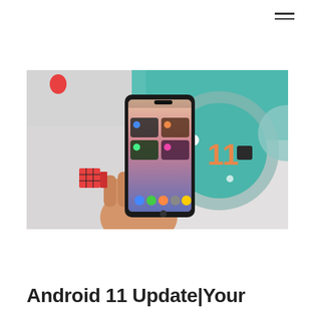[Figure (screenshot): Hamburger menu icon (three horizontal lines) in top right corner]
[Figure (photo): A hand holding a Pixel smartphone displaying a colorful wallpaper with app widgets on screen, set against a background featuring the Android 11 logo (a circle with '11' in orange text on a gray-green disk), toy figures and a Rubik's cube on a white desk surface, teal/mint colored background]
Android 11 Update|Your